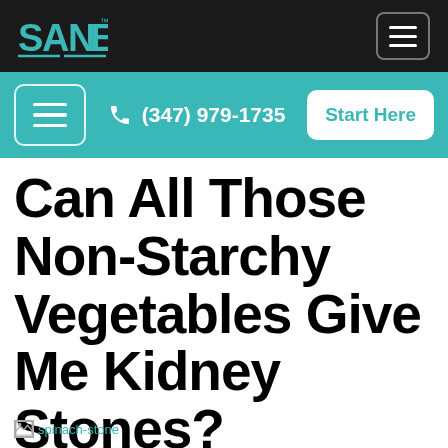SANE logo and navigation menu
(347) 979-1735  Start Here
Can All Those Non-Starchy Vegetables Give Me Kidney Stones?
[Figure (photo): Broken image placeholder labeled 'spinach-stone']